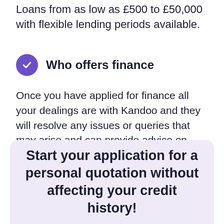Loans from as low as £500 to £50,000 with flexible lending periods available.
Who offers finance
Once you have applied for finance all your dealings are with Kandoo and they will resolve any issues or queries that may arise and can provide advice on finance where required.
Start your application for a personal quotation without affecting your credit history!